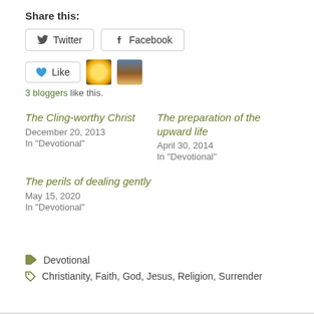Share this:
Twitter  Facebook
Like  3 bloggers like this.
The Cling-worthy Christ
December 20, 2013
In "Devotional"
The preparation of the upward life
April 30, 2014
In "Devotional"
The perils of dealing gently
May 15, 2020
In "Devotional"
Devotional
Christianity, Faith, God, Jesus, Religion, Surrender